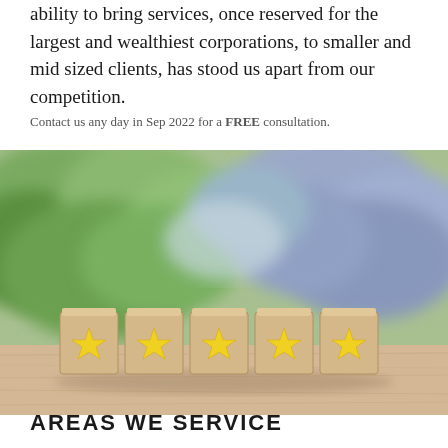ability to bring services, once reserved for the largest and wealthiest corporations, to smaller and mid sized clients, has stood us apart from our competition.
Contact us any day in Sep 2022 for a FREE consultation.
[Figure (photo): Five wooden blocks with yellow stars on them arranged in a row on a wooden surface with a blurred green and purple foliage background]
AREAS WE SERVICE